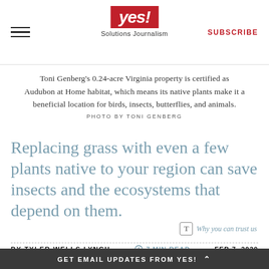yes! Solutions Journalism — SUBSCRIBE
Toni Genberg's 0.24-acre Virginia property is certified as Audubon at Home habitat, which means its native plants make it a beneficial location for birds, insects, butterflies, and animals. PHOTO BY TONI GENBERG
Replacing grass with even a few plants native to your region can save insects and the ecosystems that depend on them.
Why you can trust us
BY TYLER WELLS LYNCH   7 MIN READ   FEB 7, 2020
GET EMAIL UPDATES FROM YES! ^